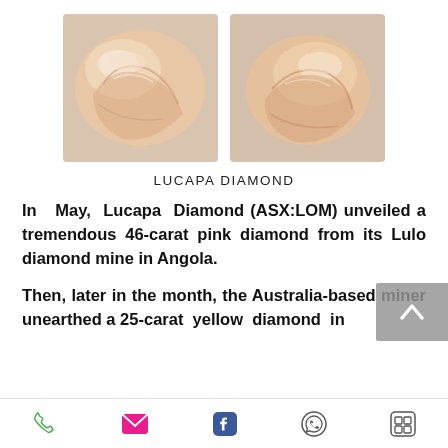[Figure (photo): Two photographs of rough pink diamonds side by side on a light background]
LUCAPA DIAMOND
In May, Lucapa Diamond (ASX:LOM) unveiled a tremendous 46-carat pink diamond from its Lulo diamond mine in Angola.
Then, later in the month, the Australia-based miner unearthed a 25-carat yellow diamond in
Phone | Email | Facebook | WhatsApp | Menu